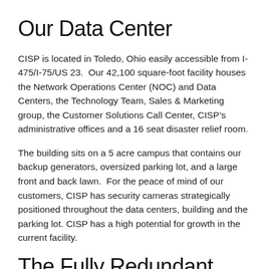Our Data Center
CISP is located in Toledo, Ohio easily accessible from I-475/I-75/US 23.  Our 42,100 square-foot facility houses the Network Operations Center (NOC) and Data Centers, the Technology Team, Sales & Marketing group, the Customer Solutions Call Center, CISP’s administrative offices and a 16 seat disaster relief room.
The building sits on a 5 acre campus that contains our backup generators, oversized parking lot, and a large front and back lawn.  For the peace of mind of our customers, CISP has security cameras strategically positioned throughout the data centers, building and the parking lot. CISP has a high potential for growth in the current facility.
The Fully Redundant Data